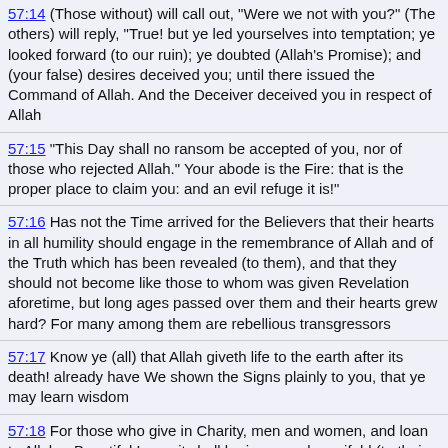57:14 (Those without) will call out, "Were we not with you?" (The others) will reply, "True! but ye led yourselves into temptation; ye looked forward (to our ruin); ye doubted (Allah's Promise); and (your false) desires deceived you; until there issued the Command of Allah. And the Deceiver deceived you in respect of Allah
57:15 "This Day shall no ransom be accepted of you, nor of those who rejected Allah." Your abode is the Fire: that is the proper place to claim you: and an evil refuge it is!"
57:16 Has not the Time arrived for the Believers that their hearts in all humility should engage in the remembrance of Allah and of the Truth which has been revealed (to them), and that they should not become like those to whom was given Revelation aforetime, but long ages passed over them and their hearts grew hard? For many among them are rebellious transgressors
57:17 Know ye (all) that Allah giveth life to the earth after its death! already have We shown the Signs plainly to you, that ye may learn wisdom
57:18 For those who give in Charity, men and women, and loan to Allah a Beautiful Loan, it shall be increased manifold (to their credit), and they shall have (besides) a liberal reward
57:19 And those who believe in Allah and His messengers- they are the Sincere (lovers of Truth) and the witnesses (who testify)...